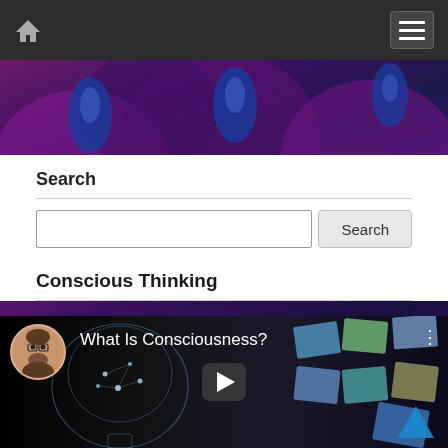Navigation bar with home icon and hamburger menu
[Figure (illustration): Purple and blue abstract organic/bulge pattern background banner]
Search
[Figure (screenshot): Search input field with a Search button]
Conscious Thinking
[Figure (screenshot): Video thumbnail showing 'What Is Consciousness?' with a glass human head graphic and floating photo panels, play button overlay, and avatar circle of a bearded man with glasses]